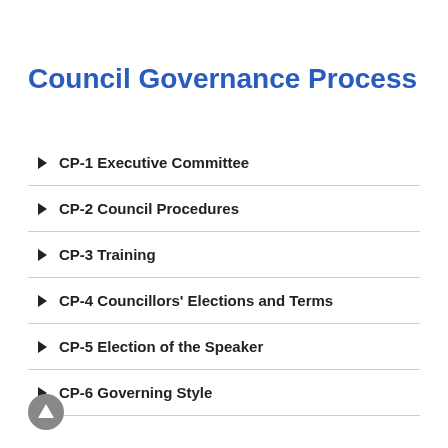Council Governance Process
CP-1 Executive Committee
CP-2 Council Procedures
CP-3 Training
CP-4 Councillors' Elections and Terms
CP-5 Election of the Speaker
CP-6 Governing Style
[Figure (illustration): Back to top circular button icon with upward arrow]